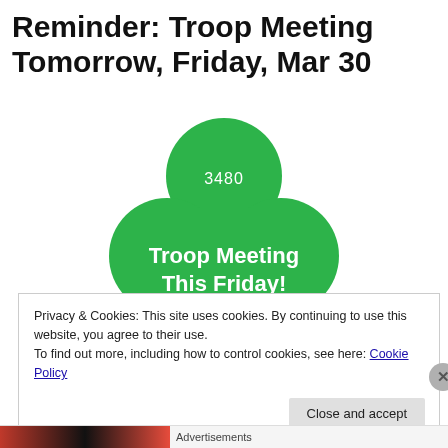Reminder: Troop Meeting Tomorrow, Friday, Mar 30
[Figure (logo): Girl Scout trefoil logo in green with text '3480' at top and 'Troop Meeting This Friday!' in white bold text on the main body]
Privacy & Cookies: This site uses cookies. By continuing to use this website, you agree to their use.
To find out more, including how to control cookies, see here: Cookie Policy
Close and accept
Advertisements